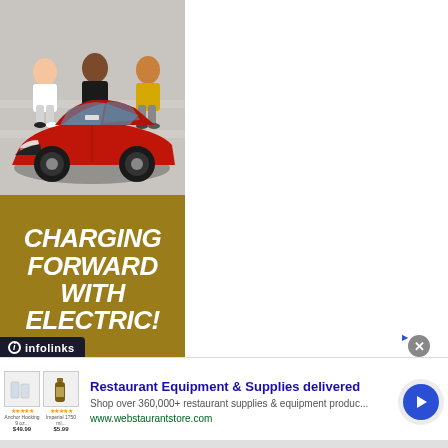[Figure (photo): Advertisement showing a red electric SUV/crossover car parked on steps with people sitting behind it on a golden-yellow background with italic bold white text reading CHARGING FORWARD WITH ELECTRIC!]
infolinks
[Figure (photo): Bottom banner advertisement for webstaurantstore.com showing two product images (glassware and a bottle), restaurant equipment ad text, and a blue circle arrow CTA button]
Restaurant Equipment & Supplies delivered
Shop over 360,000+ restaurant supplies & equipment produc...
www.webstaurantstore.com